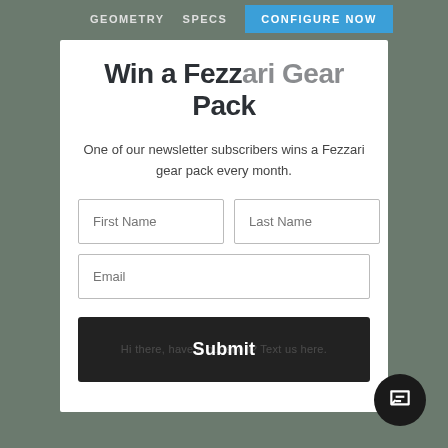GEOMETRY   SPECS   CONFIGURE NOW
Win a Fezzari Gear Pack
One of our newsletter subscribers wins a Fezzari gear pack every month.
First Name
Last Name
Email
Submit
Hi there, have a question? Text us here.